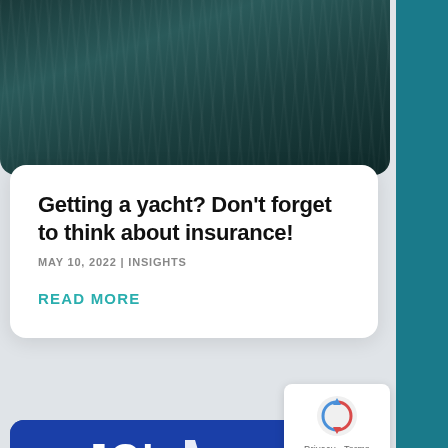[Figure (photo): Dark water/sea texture photo at top of page]
Getting a yacht? Don’t forget to think about insurance!
MAY 10, 2022 | INSIGHTS
READ MORE
[Figure (photo): JCI Malta conference photo showing a woman presenting in front of a blue JCI Malta banner with text 'Developing leaders for a change' and 'leaders for change']
Privacy · Terms